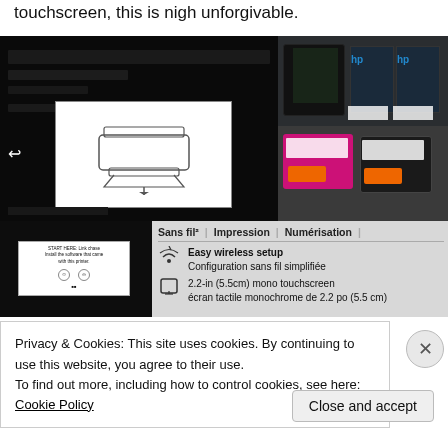touchscreen, this is nigh unforgivable.
[Figure (photo): Grid of photos showing: a printer's touchscreen setup display (dark background with white diagram of printer), HP ink cartridge packages, HP ink cartridges (tri-color and black), a wireless setup label card, and a close-up of a product box showing 'Sans fil | Impression | Numérisation | Easy wireless setup / Configuration sans fil simplifiée / 2.2-in (5.5cm) mono touchscreen / écran tactile monochrome de 2.2 po (5.5 cm)']
Privacy & Cookies: This site uses cookies. By continuing to use this website, you agree to their use.
To find out more, including how to control cookies, see here: Cookie Policy
Close and accept